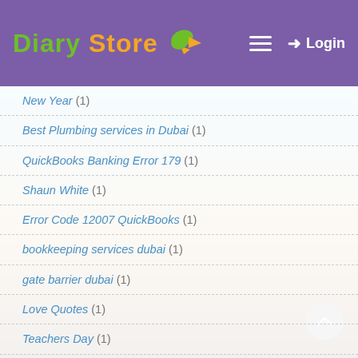Diary Store — Login
New Year (1)
Best Plumbing services in Dubai (1)
QuickBooks Banking Error 179 (1)
Shaun White (1)
Error Code 12007 QuickBooks (1)
bookkeeping services dubai (1)
gate barrier dubai (1)
Love Quotes (1)
Teachers Day (1)
Vibration analysis services (1)
kosher barbecue (1)
At home basketball court (1)